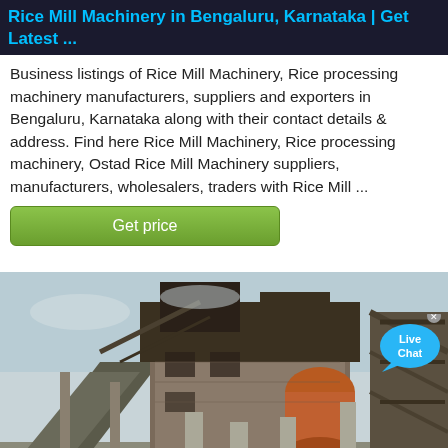Rice Mill Machinery in Bengaluru, Karnataka | Get Latest ...
Business listings of Rice Mill Machinery, Rice processing machinery manufacturers, suppliers and exporters in Bengaluru, Karnataka along with their contact details & address. Find here Rice Mill Machinery, Rice processing machinery, Ostad Rice Mill Machinery suppliers, manufacturers, wholesalers, traders with Rice Mill ...
[Figure (screenshot): Green 'Get price' button and Live Chat bubble overlay]
[Figure (photo): Industrial rice mill machinery facility photographed from a low angle, showing large metal structures, conveyors, pillars and equipment against a grey sky]